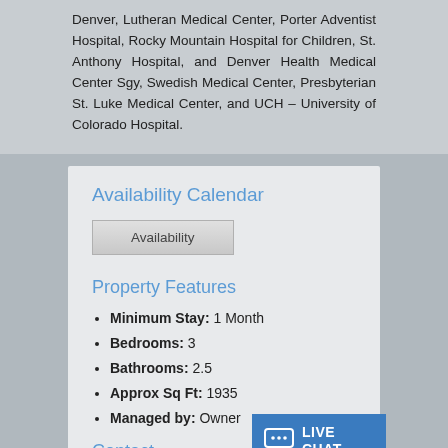Denver, Lutheran Medical Center, Porter Adventist Hospital, Rocky Mountain Hospital for Children, St. Anthony Hospital, and Denver Health Medical Center Sgy, Swedish Medical Center, Presbyterian St. Luke Medical Center, and UCH – University of Colorado Hospital.
Availability Calendar
[Figure (other): Button labeled 'Availability' with grey gradient styling]
Property Features
Minimum Stay: 1 Month
Bedrooms: 3
Bathrooms: 2.5
Approx Sq Ft: 1935
Managed by: Owner
Contact